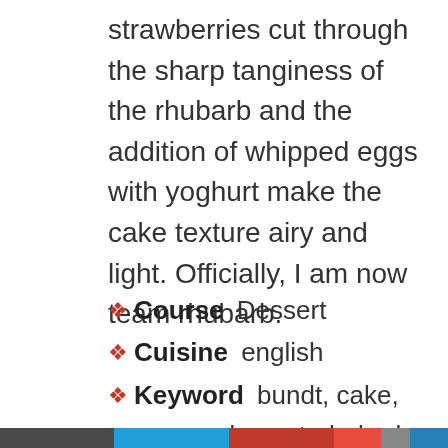strawberries cut through the sharp tanginess of the rhubarb and the addition of whipped eggs with yoghurt make the cake texture airy and light. Officially, I am now team rhubarb.
Course Dessert
Cuisine english
Keyword bundt, cake, cream, dessert, rhubarb, strawberries, yoghurt